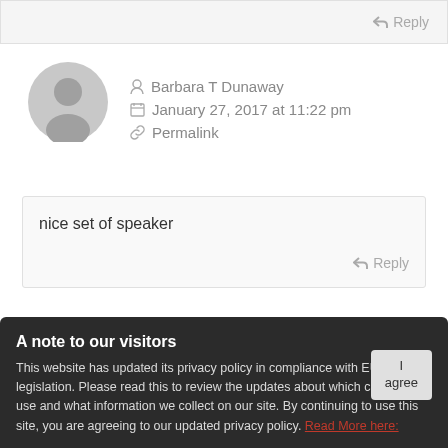↩ Reply
[Figure (illustration): Gray default user avatar icon (circle with person silhouette)]
Barbara T Dunaway
January 27, 2017 at 11:22 pm
Permalink
nice set of speaker
↩ Reply
A note to our visitors
This website has updated its privacy policy in compliance with EU Cookie legislation. Please read this to review the updates about which cookies we use and what information we collect on our site. By continuing to use this site, you are agreeing to our updated privacy policy. Read More here:
Required fields are marked *
Comment *